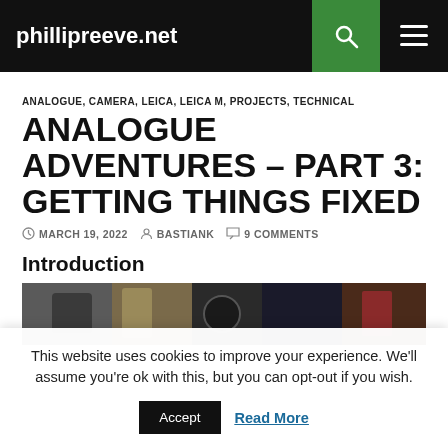phillipreeve.net
ANALOGUE, CAMERA, LEICA, LEICA M, PROJECTS, TECHNICAL
ANALOGUE ADVENTURES – PART 3: GETTING THINGS FIXED
MARCH 19, 2022  BASTIANK  9 COMMENTS
Introduction
[Figure (photo): Photo of camera equipment and lenses on a workbench]
This website uses cookies to improve your experience. We'll assume you're ok with this, but you can opt-out if you wish.
Accept   Read More